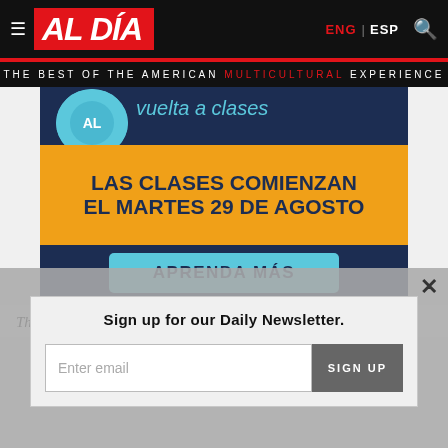AL DÍA — ENG | ESP
THE BEST OF THE AMERICAN MULTICULTURAL EXPERIENCE
[Figure (infographic): Advertisement banner in dark blue with yellow band reading 'LAS CLASES COMIENZAN EL MARTES 29 DE AGOSTO' and a button 'APRENDA MÁS'. Top area shows 'vuelta a clases' in light blue text.]
The impact of natural disasters like hurricanes have only been
Sign up for our Daily Newsletter.
Enter email
SIGN UP